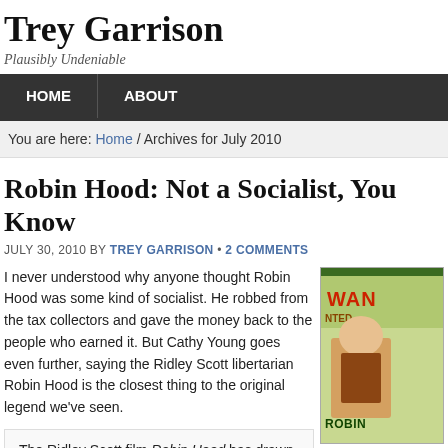Trey Garrison
Plausibly Undeniable
HOME   ABOUT
You are here: Home / Archives for July 2010
Robin Hood: Not a Socialist, You Know
JULY 30, 2010 BY TREY GARRISON • 2 COMMENTS
I never understood why anyone thought Robin Hood was some kind of socialist. He robbed from the tax collectors and gave the money back to the people who earned it. But Cathy Young goes even further, saying the Ridley Scott libertarian Robin Hood is the closest thing to the original legend we've seen.
[Figure (illustration): Partial book/movie cover image showing Robin Hood related artwork with text 'WAN' and 'ROBIN' visible]
The Ridley Scott film Robin Hood has drawn some critics' political ire. In The Village Voice, Karina Longworth laments that "instead of robbing from the rich to give to the poor, this Robin Hood preaches